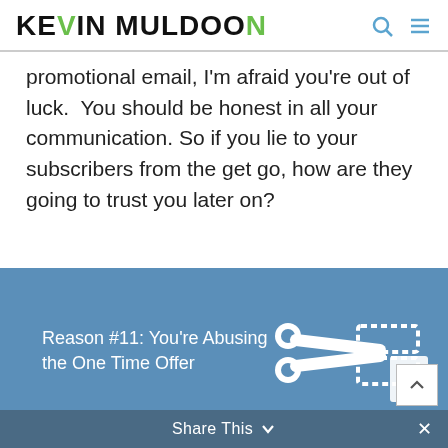Kevin Muldoon
promotional email, I'm afraid you're out of luck.  You should be honest in all your communication. So if you lie to your subscribers from the get go, how are they going to trust you later on?
[Figure (illustration): Blue banner image with scissors/coupon icon and text 'Reason #11: You're Abusing the One Time Offer']
Share This ∨